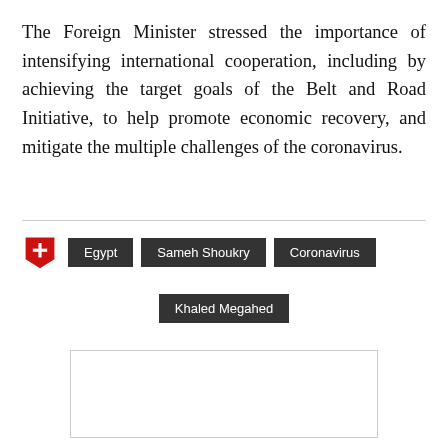The Foreign Minister stressed the importance of intensifying international cooperation, including by achieving the target goals of the Belt and Road Initiative, to help promote economic recovery, and mitigate the multiple challenges of the coronavirus.
Egypt
Sameh Shoukry
Coronavirus
Khaled Megahed
[Figure (other): Empty comment/content box with light border]